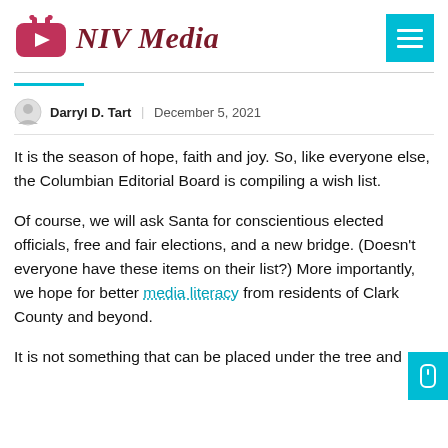NIV Media
Darryl D. Tart   December 5, 2021
It is the season of hope, faith and joy. So, like everyone else, the Columbian Editorial Board is compiling a wish list.
Of course, we will ask Santa for conscientious elected officials, free and fair elections, and a new bridge. (Doesn't everyone have these items on their list?) More importantly, we hope for better media literacy from residents of Clark County and beyond.
It is not something that can be placed under the tree and